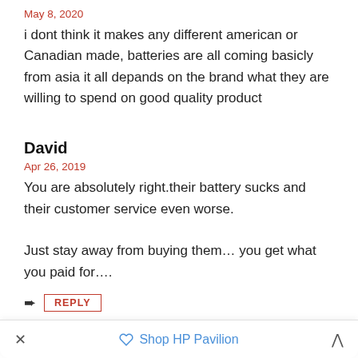May 8, 2020
i dont think it makes any different american or Canadian made, batteries are all coming basicly from asia it all depands on the brand what they are willing to spend on good quality product
David
Apr 26, 2019
You are absolutely right.their battery sucks and their customer service even worse.

Just stay away from buying them... you get what you paid for....
REPLY
Shop HP Pavilion